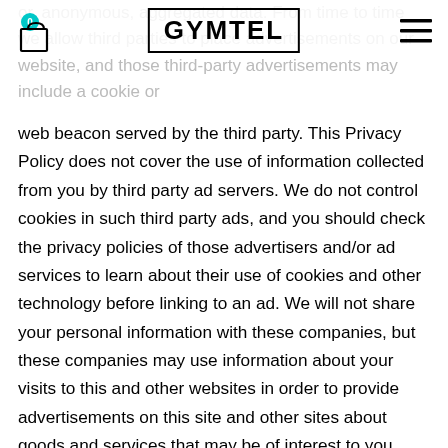GYMTEL
or, anonymous, aggregated data. From time to time we allow third parties to place advertisements on our website, and those third-party advertisements may include a cookie or web beacon served by the third party. This Privacy Policy does not cover the use of information collected from you by third party ad servers. We do not control cookies in such third party ads, and you should check the privacy policies of those advertisers and/or ad services to learn about their use of cookies and other technology before linking to an ad. We will not share your personal information with these companies, but these companies may use information about your visits to this and other websites in order to provide advertisements on this site and other sites about goods and services that may be of interest to you, and they may share your personal information that you provide to them with others. We may also use cookie data to show personalised or targeted advertising on this and other third party websites. Facebook and the